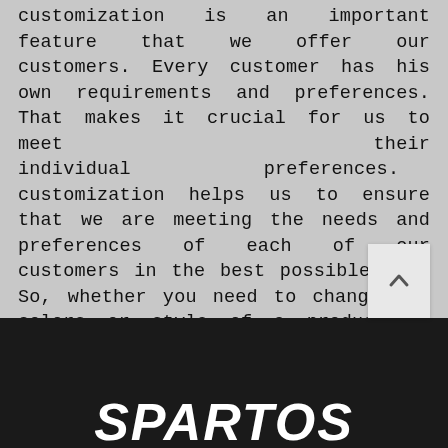Customization is an important feature that we offer our customers. Every customer has his own requirements and preferences. That makes it crucial for us to meet their individual preferences. Offering customization helps us to ensure that we are meeting the needs and preferences of each of our customers in the best possible way. So, whether you need to change the colors or style of a product or need your own logo and tags on the products, we can get it done without any trouble at all.
[Figure (logo): White bold italic stylized text logo reading 'SPARTOS' or similar brand name on dark background, partially visible at bottom of page]